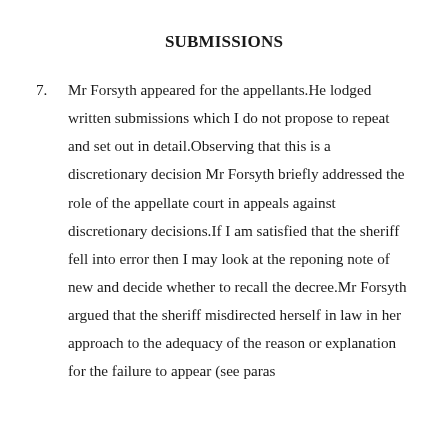SUBMISSIONS
7. Mr Forsyth appeared for the appellants.He lodged written submissions which I do not propose to repeat and set out in detail.Observing that this is a discretionary decision Mr Forsyth briefly addressed the role of the appellate court in appeals against discretionary decisions.If I am satisfied that the sheriff fell into error then I may look at the reponing note of new and decide whether to recall the decree.Mr Forsyth argued that the sheriff misdirected herself in law in her approach to the adequacy of the reason or explanation for the failure to appear (see paras